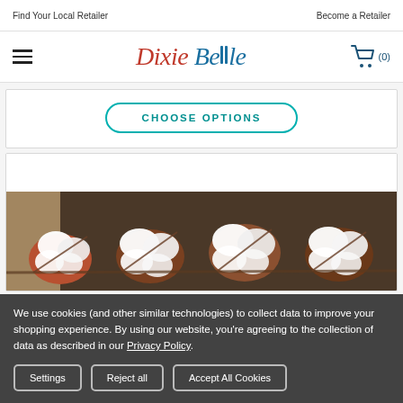Find Your Local Retailer   Become a Retailer
[Figure (logo): Dixie Belle Paint Company logo with stylized script text in red and blue]
[Figure (screenshot): Choose Options button with teal border]
[Figure (photo): Cotton bolls on branches, close-up product photo]
We use cookies (and other similar technologies) to collect data to improve your shopping experience. By using our website, you're agreeing to the collection of data as described in our Privacy Policy.
Settings   Reject all   Accept All Cookies